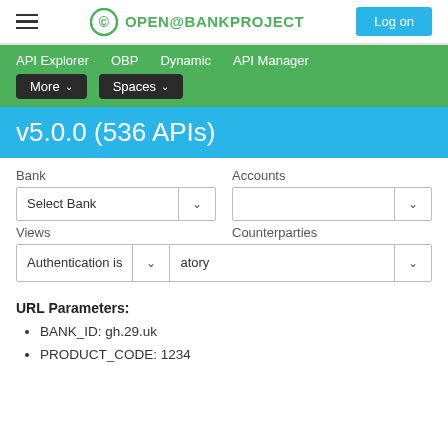OPENBANKPROJECT  Log on
API Explorer  OBP  Dynamic  API Manager  More  Spaces
v5.0.0 (536 APIs)
Bank  Accounts  Select Bank  Views  Counterparties  Authentication is  atory
URL Parameters:
BANK_ID: gh.29.uk
PRODUCT_CODE: 1234